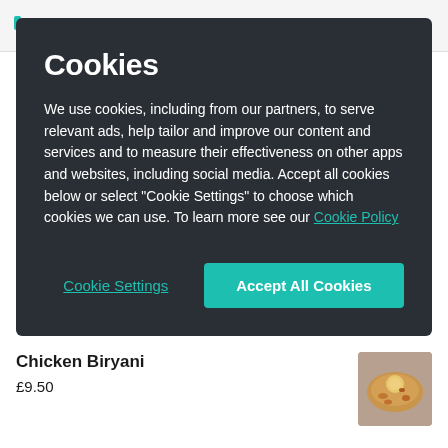[Figure (logo): Waitrose or similar grocery app logo - teal colored mark]
Cookies
We use cookies, including from our partners, to serve relevant ads, help tailor and improve our content and services and to measure their effectiveness on other apps and websites, including social media. Accept all cookies below or select “Cookie Settings” to choose which cookies we can use. To learn more see our Cookie Policy
Cookie Settings
Accept All Cookies
Chicken Biryani
£9.50
[Figure (photo): Photo of Chicken Biryani dish]